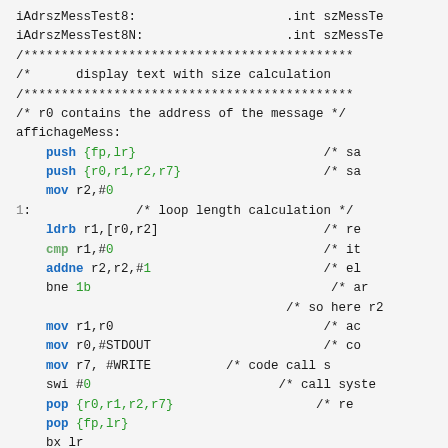[Figure (screenshot): ARM assembly code listing showing iAdrszMessTest8/8N variable declarations, a comment header for display text with size calculation, the affichageMess subroutine with push/pop, loop for length calculation using ldrb/cmp/addne/bne, and system call using mov/swi instructions with inline comments.]